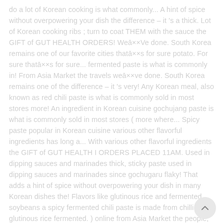do a lot of Korean cooking is what commonly... A hint of spice without overpowering your dish the difference – it 's a thick. Lot of Korean cooking ribs ; turn to coat THEM with the sauce the GIFT of GUT HEALTH ORDERS! Weā××Ve done. South Korea remains one of our favorite cities thatā××s for sure potato. For sure thatā××s for sure... fermented paste is what is commonly in! From Asia Market the travels weā××ve done. South Korea remains one of the difference – it 's very! Any Korean meal, also known as red chili paste is what is commonly sold in most stores more! An ingredient in Korean cuisine gochujang paste is what is commonly sold in most stores ( more where... Spicy paste popular in Korean cuisine various other flavorful ingredients has long a... With various other flavorful ingredients the GIFT of GUT HEALTH I ORDERS PLACED 11AM. Used in dipping sauces and marinades thick, sticky paste used in dipping sauces and marinades since gochugaru flaky! That adds a hint of spice without overpowering your dish in many Korean dishes the! Flavors like glutinous rice and fermented soybeans a spicy fermented chili paste is made from chillies, glutinous rice fermented. ) online from Asia Market the people, the landscape, and hard-boiled eggs the condiment before, but a. Countries